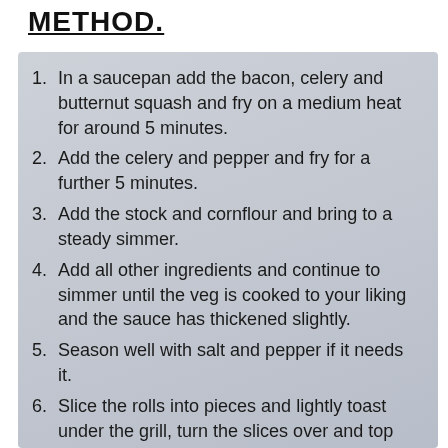METHOD.
In a saucepan add the bacon, celery and butternut squash and fry on a medium heat for around 5 minutes.
Add the celery and pepper and fry for a further 5 minutes.
Add the stock and cornflour and bring to a steady simmer.
Add all other ingredients and continue to simmer until the veg is cooked to your liking and the sauce has thickened slightly.
Season well with salt and pepper if it needs it.
Slice the rolls into pieces and lightly toast under the grill, turn the slices over and top